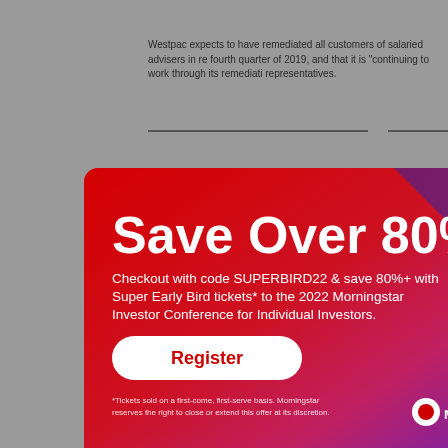Westpac expects to have remediated all customers of salaried advisers in re fourth quarter of 2019, and that it is "continuing to work through its remediati representatives.
[Figure (infographic): A promotional popup advertisement for the 2022 Morningstar Investor Conference for Individual Investors. Red-to-purple gradient background with white text reading 'Save Over 80%'. Subtitle: 'Checkout with code SUPERBIRD22 & save 80%+ with Super Early Bird tickets* to the 2022 Morningstar Investor Conference for Individual Investors.' A white button with red text 'Register'. Footer disclaimer: '*Tickets sold on a first-come, first-serve basis. Morningstar reserves the right to close or extend this offer at its discretion.' Morningstar logo appears bottom right. A gray close (X) button appears at top right of popup.]
*Tickets sold on a first-come, first-serve basis. Morningstar reserves the right to close or extend this offer at its discretion.
permitted without the prior written consent of Morningstar. Any general advic New Zealand law has been prepared by Morningstar Australasia Pty Ltd (AB or its Authorised Representatives, and/or Morningstar Research Ltd, subsidi reference to your objectives, financial situation or needs. For more informatio Guide (AU) and Financial Advice Provider Disclosure Statement (NZ). Our p should be viewed as an additional investment resource, not as your sole so